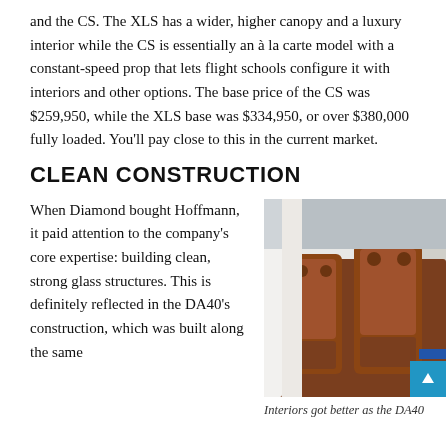and the CS. The XLS has a wider, higher canopy and a luxury interior while the CS is essentially an à la carte model with a constant-speed prop that lets flight schools configure it with interiors and other options. The base price of the CS was $259,950, while the XLS base was $334,950, or over $380,000 fully loaded. You'll pay close to this in the current market.
CLEAN CONSTRUCTION
When Diamond bought Hoffmann, it paid attention to the company's core expertise: building clean, strong glass structures. This is definitely reflected in the DA40's construction, which was built along the same
[Figure (photo): Interior photograph of a DA40 aircraft showing two brown/tan leather seats inside a white composite fuselage with the canopy open, viewed from outside.]
Interiors got better as the DA40